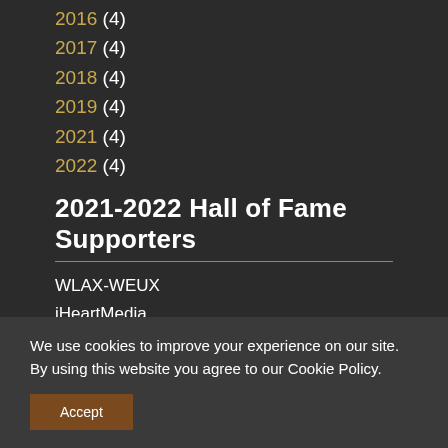2016 (4)
2017 (4)
2018 (4)
2019 (4)
2021 (4)
2022 (4)
2021-2022 Hall of Fame Supporters
WLAX-WEUX
iHeartMedia
Dick Record
WDJT-TV
We use cookies to improve your experience on our site. By using this website you agree to our Cookie Policy.
Accept